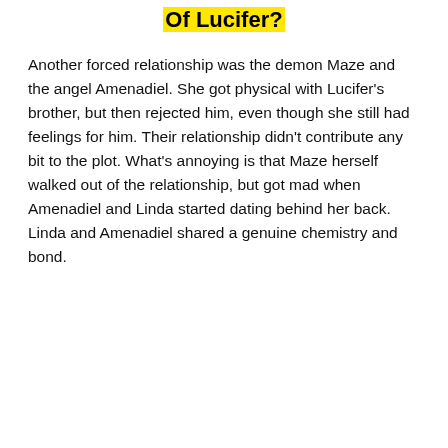Of Lucifer?
Another forced relationship was the demon Maze and the angel Amenadiel. She got physical with Lucifer's brother, but then rejected him, even though she still had feelings for him. Their relationship didn't contribute any bit to the plot. What's annoying is that Maze herself walked out of the relationship, but got mad when Amenadiel and Linda started dating behind her back. Linda and Amenadiel shared a genuine chemistry and bond.